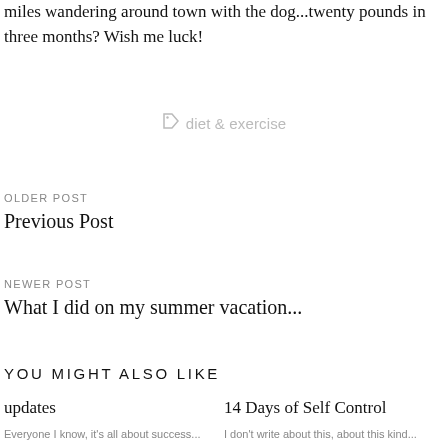miles wandering around town with the dog...twenty pounds in three months? Wish me luck!
diet & exercise
OLDER POST
Previous Post
NEWER POST
What I did on my summer vacation...
YOU MIGHT ALSO LIKE
updates
14 Days of Self Control